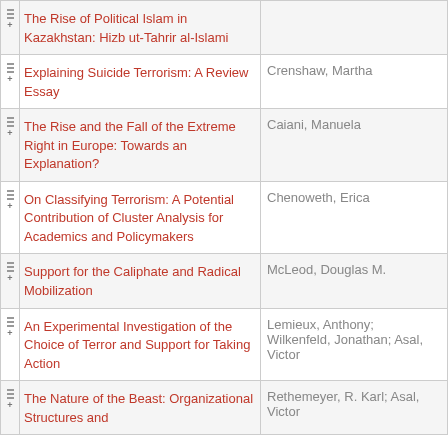| Title | Author |
| --- | --- |
| The Rise of Political Islam in Kazakhstan: Hizb ut-Tahrir al-Islami |  |
| Explaining Suicide Terrorism: A Review Essay | Crenshaw, Martha |
| The Rise and the Fall of the Extreme Right in Europe: Towards an Explanation? | Caiani, Manuela |
| On Classifying Terrorism: A Potential Contribution of Cluster Analysis for Academics and Policymakers | Chenoweth, Erica |
| Support for the Caliphate and Radical Mobilization | McLeod, Douglas M. |
| An Experimental Investigation of the Choice of Terror and Support for Taking Action | Lemieux, Anthony; Wilkenfeld, Jonathan; Asal, Victor |
| The Nature of the Beast: Organizational Structures and | Rethemeyer, R. Karl; Asal, Victor |